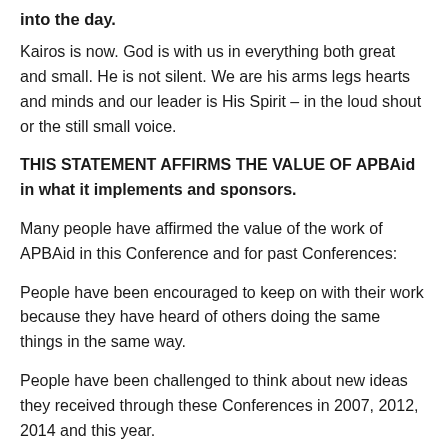into the day.
Kairos is now. God is with us in everything both great and small. He is not silent. We are his arms legs hearts and minds and our leader is His Spirit – in the loud shout or the still small voice.
THIS STATEMENT AFFIRMS THE VALUE OF APBAid in what it implements and sponsors.
Many people have affirmed the value of the work of APBAid in this Conference and for past Conferences:
People have been encouraged to keep on with their work because they have heard of others doing the same things in the same way.
People have been challenged to think about new ideas they received through these Conferences in 2007, 2012, 2014 and this year.